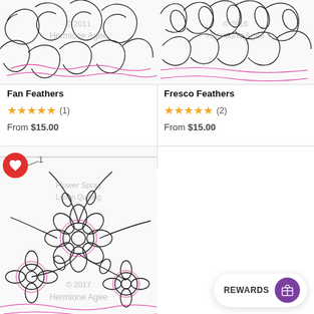[Figure (illustration): Fan Feathers quilting pattern thumbnail with swirl and feather motifs, black line art on white with pink accent lines, watermark © 2011 Hermione Agee]
Fan Feathers
★★★★★ (1)
From $15.00
[Figure (illustration): Fresco Feathers quilting pattern thumbnail with looping feather motifs, black line art on white with pink accent lines, watermark © 2016 Hermione Agee]
Fresco Feathers
★★★★★ (2)
From $15.00
[Figure (illustration): Flower Spray quilting pattern thumbnail with large flower and spray motifs, black line art on white with pink accent lines, watermark Flower Spray Lorien Quilting © 2017 Hermione Agee, numbered step 1]